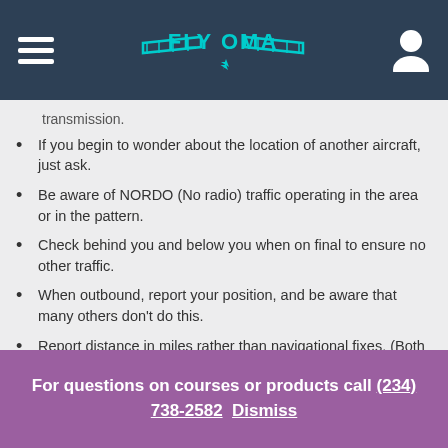FLY OMA
transmission.
If you begin to wonder about the location of another aircraft, just ask.
Be aware of NORDO (No radio) traffic operating in the area or in the pattern.
Check behind you and below you when on final to ensure no other traffic.
When outbound, report your position, and be aware that many others don't do this.
Report distance in miles rather than navigational fixes. (Both VFR and IFR)
For questions on courses or products call (234) 738-2582   Dismiss